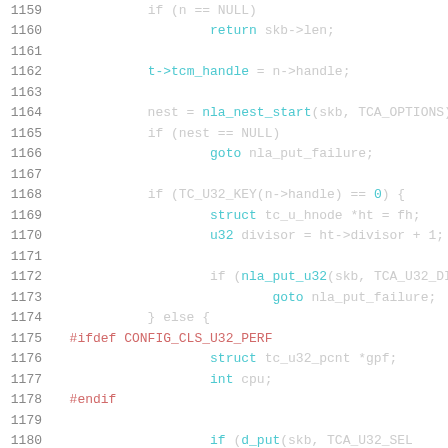Source code listing lines 1159-1179, C kernel code snippet